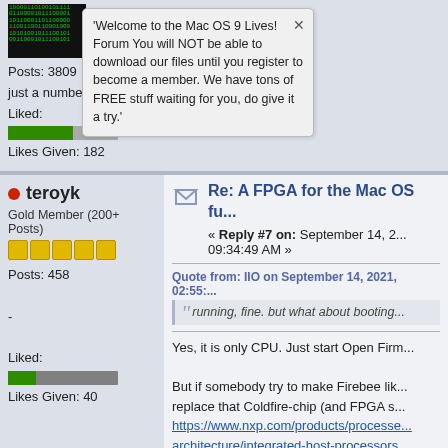[Figure (screenshot): Forum post top section showing avatar (binary matrix image), user stats Posts: 3809, just a number, Liked bar, Likes Given: 182, and a tooltip popup: 'Welcome to the Mac OS 9 Lives! Forum You will NOT be able to download our files until you register to become a member. We have tons of FREE stuff waiting for you, do give it a try.']
[Figure (screenshot): Forum post bottom section: user teroyk, Gold Member (200+ Posts), 5 gold stars, Posts: 458, -, Liked bar, Likes Given: 40. Reply post: Re: A FPGA for the Mac OS fu... Reply #7 on: September 14, 2... 09:34:49 AM. Quote from IIO on September 14, 2021, 02:55:... running, fine. but what about booting... Post text: Yes, it is only CPU. Just start Open Firm... But if somebody try to make Firebee lik... replace that Coldfire-chip (and FPGA s... https://www.nxp.com/products/processe... architecture/integrated-host-processors... That e600 core has all 32-bit PowerPC... instructions, so I am not sure is it 100%...]